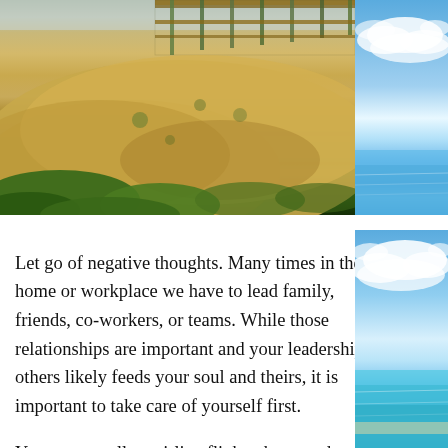[Figure (photo): Photograph of sandy coastal dunes with sparse vegetation and a wooden boardwalk/railing visible at the top, taken in bright daylight.]
[Figure (photo): Photograph of a bright blue sky with clouds at the top, transitioning to a turquoise tropical sea/beach scene at the bottom.]
Let go of negative thoughts. Many times in the home or workplace we have to lead family, friends, co-workers, or teams. While those relationships are important and your leadership of others likely feeds your soul and theirs, it is important to take care of yourself first.
You may recall on airline flights the attendants give you an important directive –